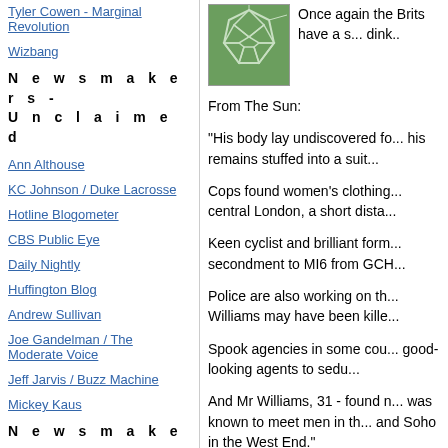Tyler Cowen - Marginal Revolution
Wizbang
N e w s m a k e r s  -  U n c l a i m e d
Ann Althouse
KC Johnson / Duke Lacrosse
Hotline Blogometer
CBS Public Eye
Daily Nightly
Huffington Blog
Andrew Sullivan
Joe Gandelman / The Moderate Voice
Jeff Jarvis / Buzz Machine
Mickey Kaus
N e w s m a k e r s  -  L e f t
Blog For America (And Dean)
[Figure (illustration): Green geometric polygon/soccer ball pattern thumbnail image]
Once again the Brits have a s... dink..
From The Sun:
"His body lay undiscovered fo... his remains stuffed into a suit...
Cops found women's clothing... central London, a short dista...
Keen cyclist and brilliant form... secondment to MI6 from GCH...
Police are also working on th... Williams may have been kille...
Spook agencies in some cou... good-looking agents to sedu...
And Mr Williams, 31 - found n... was known to meet men in th... and Soho in the West End."
Top that, Val and Joe.